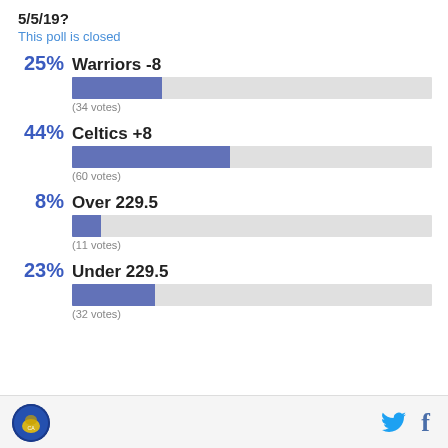5/5/19?
This poll is closed
[Figure (bar-chart): Poll results]
Logo | Twitter | Facebook